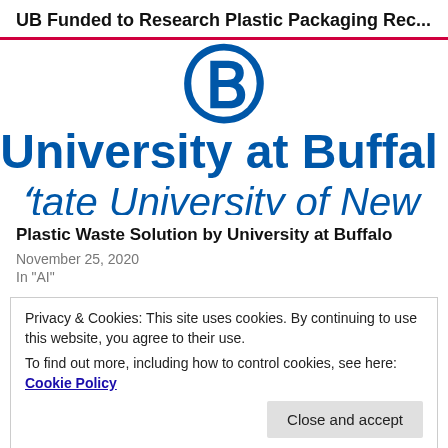UB Funded to Research Plastic Packaging Rec...
[Figure (logo): University at Buffalo logo with large blue B symbol and text 'University at Buffalo' and 'State University of New' in blue]
Plastic Waste Solution by University at Buffalo
November 25, 2020
In "AI"
Privacy & Cookies: This site uses cookies. By continuing to use this website, you agree to their use.
To find out more, including how to control cookies, see here: Cookie Policy
Close and accept
[Figure (logo): Parknsn logo with colored dots (orange, yellow, green) and dark gray text 'parknsn']